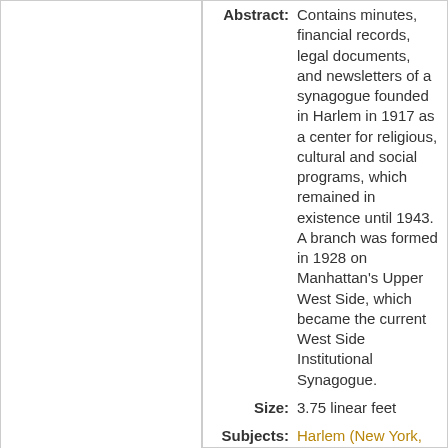Abstract: Contains minutes, financial records, legal documents, and newsletters of a synagogue founded in Harlem in 1917 as a center for religious, cultural and social programs, which remained in existence until 1943. A branch was formed in 1928 on Manhattan's Upper West Side, which became the current West Side Institutional Synagogue.
Size: 3.75 linear feet
Subjects: Harlem (New York, N.Y.) | Jews -- New York (State) --